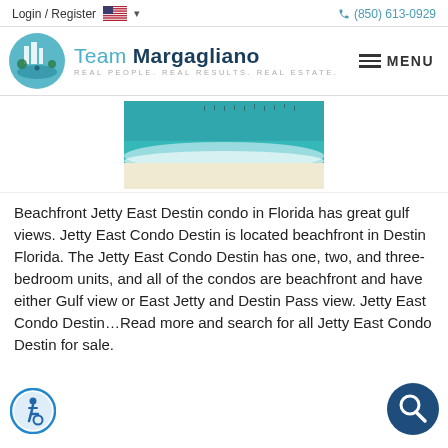Login / Register | (850) 613-0929
[Figure (logo): Team Margagliano real estate logo with teal circular emblem and text: Team Margagliano, REAL PEOPLE. REAL RESULTS. REAL ESTATE.]
[Figure (photo): Aerial view of a beachfront with teal gulf water and white sand, partially visible at top center of page]
Beachfront Jetty East Destin condo in Florida has great gulf views. Jetty East Condo Destin is located beachfront in Destin Florida. The Jetty East Condo Destin has one, two, and three-bedroom units, and all of the condos are beachfront and have either Gulf view or East Jetty and Destin Pass view. Jetty East Condo Destin…Read more and search for all Jetty East Condo Destin for sale.